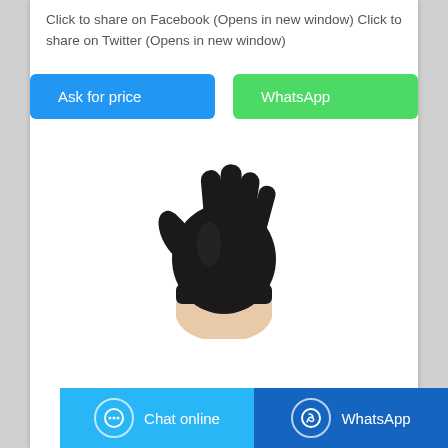Click to share on Facebook (Opens in new window) Click to share on Twitter (Opens in new window)
[Figure (other): Two action buttons: 'Ask for price' (blue) and 'WhatsApp' (green)]
[Figure (photo): A black nitrile glove worn on a hand, fingers spread, isolated on white background]
[Figure (other): Footer bar with 'Chat online' button (light blue) and 'WhatsApp' button (dark blue)]